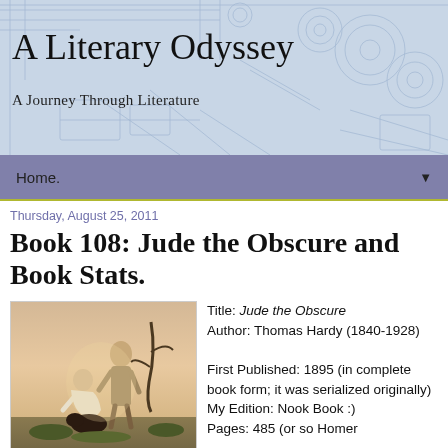A Literary Odyssey
A Journey Through Literature
Home. ▼
Thursday, August 25, 2011
Book 108: Jude the Obscure and Book Stats.
[Figure (photo): A painting showing two figures in a pastoral outdoor scene — a woman seated and a standing man leaning toward her, with trees and warm sky in background.]
Title: Jude the Obscure
Author: Thomas Hardy (1840-1928)

First Published: 1895 (in complete book form; it was serialized originally)
My Edition: Nook Book :)
Pages: 485 (or so Homer